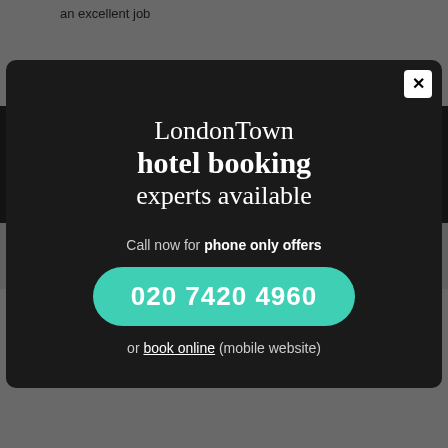an excellent job
Carla Crosby
Sales Operations Manager, CEG UK
Save even further on hotels, tickets and tours
LondonTown can save you time and money including London hotels, theatre tickets, restaurants, airport transfers, and sightseeing tours.
Send an email with your requirements to
groups@londontown.com
[Figure (screenshot): Modal popup overlay on LondonTown website. Dark background modal with title 'LondonTown hotel booking experts available', call to action 'Call now for phone only offers', phone number button '020 7420 4960' in teal/green, and 'or book online (mobile website)' link. Close button (×) in top right corner.]
LondonTown hotel booking experts available
Call now for phone only offers
020 7420 4960
or book online (mobile website)